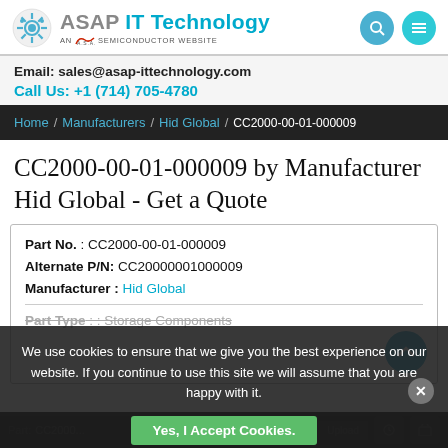[Figure (logo): ASAP IT Technology logo with gear icon and text 'AN A.S.A.P. SEMICONDUCTOR WEBSITE']
Email: sales@asap-ittechnology.com
Call Us: +1 (714) 705-4780
Home / Manufacturers / Hid Global / CC2000-00-01-000009
CC2000-00-01-000009 by Manufacturer Hid Global - Get a Quote
| Part No. : CC2000-00-01-000009 |
| Alternate P/N: CC20000001000009 |
| Manufacturer : Hid Global |
| Part Type : : Storage Components |
We use cookies to ensure that we give you the best experience on our website. If you continue to use this site we will assume that you are happy with it.
Yes, I Accept Cookies.